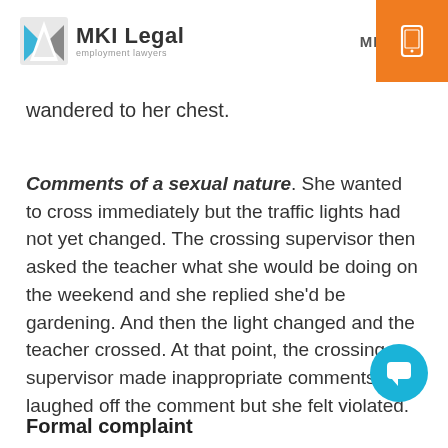MKI Legal employment lawyers | MENU
wandered to her chest.
Comments of a sexual nature. She wanted to cross immediately but the traffic lights had not yet changed. The crossing supervisor then asked the teacher what she would be doing on the weekend and she replied she'd be gardening. And then the light changed and the teacher crossed. At that point, the crossing supervisor made inappropriate comments. She laughed off the comment but she felt violated.
Formal complaint